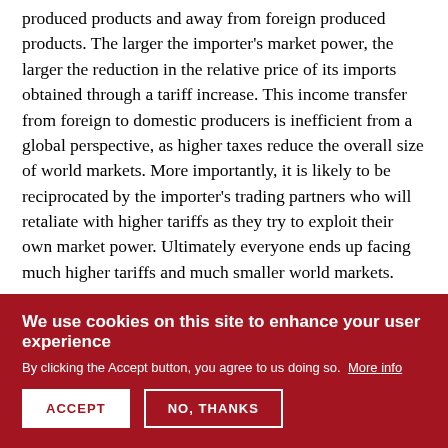produced products and away from foreign produced products. The larger the importer's market power, the larger the reduction in the relative price of its imports obtained through a tariff increase. This income transfer from foreign to domestic producers is inefficient from a global perspective, as higher taxes reduce the overall size of world markets. More importantly, it is likely to be reciprocated by the importer's trading partners who will retaliate with higher tariffs as they try to exploit their own market power. Ultimately everyone ends up facing much higher tariffs and much smaller world markets.

The prevention of the inefficiencies associated with trade wars is the fundamental rationale behind cooperation in trade agreements identified by Bagwell and Staiger (1999)
We use cookies on this site to enhance your user experience
By clicking the Accept button, you agree to us doing so. More info
ACCEPT | NO, THANKS